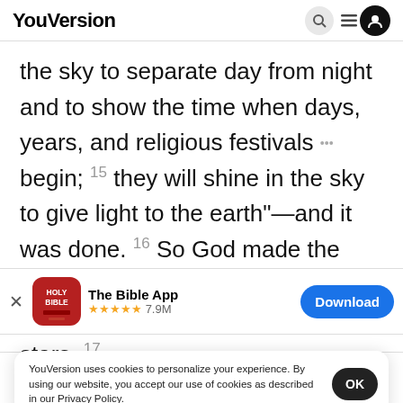YouVersion
the sky to separate day from night and to show the time when days, years, and religious festivals begin; 15 they will shine in the sky to give light to the earth”—and it was done. 16 So God made the
[Figure (screenshot): App store banner for The Bible App with HOLY BIBLE icon, 5 stars rating, 7.9M reviews, and Download button]
stars. 17
the ear
YouVersion uses cookies to personalize your experience. By using our website, you accept our use of cookies as described in our Privacy Policy.
Home  Bible  Plans  Videos